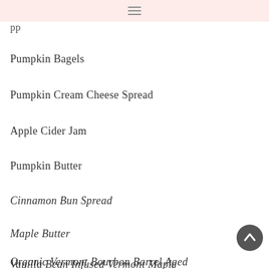pp
Pumpkin Bagels
Pumpkin Cream Cheese Spread
Apple Cider Jam
Pumpkin Butter
Cinnamon Bun Spread
Maple Butter
Vanilla Bean Infused Vermont Maple Syrup
Organic Vermont Bourbon Barrel Aged